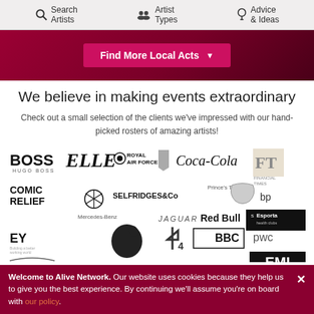Search Artists | Artist Types | Advice & Ideas
[Figure (screenshot): Find More Local Acts button on dark red/crimson hero banner]
We believe in making events extraordinary
Check out a small selection of the clients we've impressed with our hand-picked rosters of amazing artists!
[Figure (infographic): Grid of client logos including BOSS Hugo Boss, ELLE, Royal Air Force, Coca-Cola, FT Financial Times, Comic Relief, Selfridges & Co, Prince's Trust, Shell, BP, Mercedes-Benz, Jaguar, Red Bull, Esporta health clubs, EY, Apple, Channel 4, BBC, PWC, EMI]
Welcome to Alive Network. Our website uses cookies because they help us to give you the best experience. By continuing we'll assume you're on board with our policy.